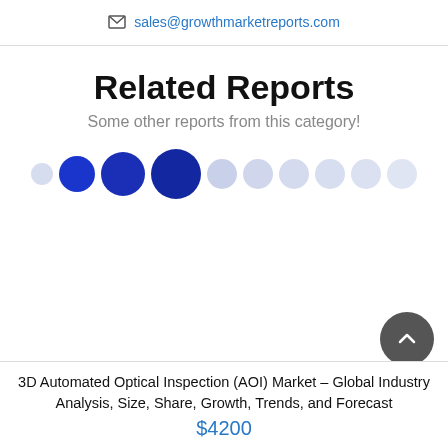sales@growthmarketreports.com
Related Reports
Some other reports from this category!
[Figure (infographic): A row of 10 circles used as a carousel/slider indicator. The first circle is light blue (small), circles 2-4 are solid dark blue (progressively larger), and circles 5-10 are light blue/lavender (medium sized).]
3D Automated Optical Inspection (AOI) Market – Global Industry Analysis, Size, Share, Growth, Trends, and Forecast
$4200